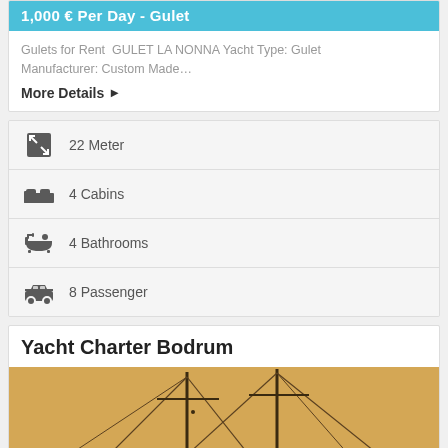1,000 € Per Day - Gulet
Gulets for Rent  GULET LA NONNA Yacht Type: Gulet Manufacturer: Custom Made…
More Details ▶
22 Meter
4 Cabins
4 Bathrooms
8 Passenger
Yacht Charter Bodrum
[Figure (photo): Sailboat masts against a warm beige/orange sky background]